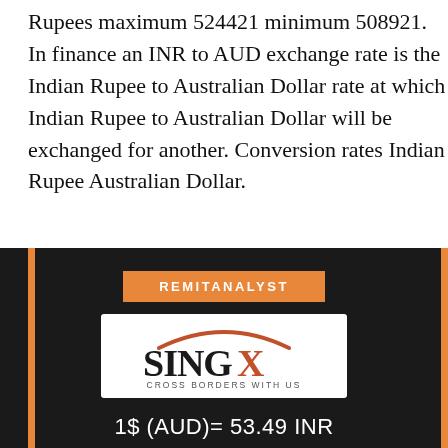Rupees maximum 524421 minimum 508921. In finance an INR to AUD exchange rate is the Indian Rupee to Australian Dollar rate at which Indian Rupee to Australian Dollar will be exchanged for another. Conversion rates Indian Rupee Australian Dollar.
[Figure (infographic): Dark background infographic with orange 'REMITANALYST' label, SingX logo (Cross Borders With Us), and exchange rate text: 1$ (AUD)= 53.49 INR. Orange vertical bars on left and right edges.]